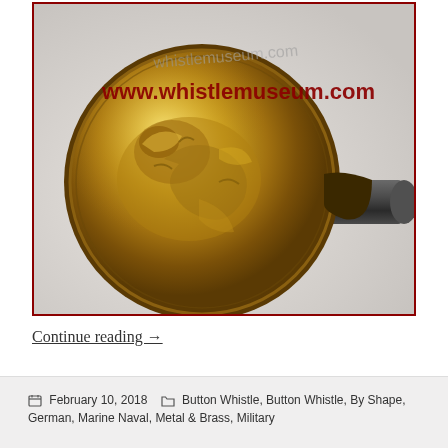[Figure (photo): Close-up photo of a golden brass button whistle with a dragon or animal relief embossed on the circular face, with a mouthpiece extending to the right. The image has a dark red/maroon border. A watermark reads 'www.whistlemuseum.com' in dark red text and a lighter gray watermark behind it.]
Continue reading →
February 10, 2018   Button Whistle, Button Whistle, By Shape, German, Marine Naval, Metal & Brass, Military